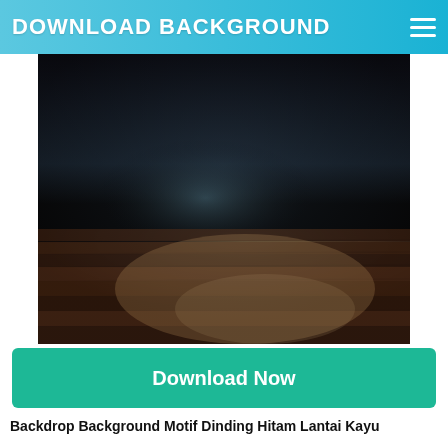DOWNLOAD BACKGROUND
[Figure (photo): A dark studio backdrop showing a black/dark grey textured wall meeting a rustic wooden plank floor, with a soft spotlight illuminating the centre of the scene from above.]
Download Now
Backdrop Background Motif Dinding Hitam Lantai Kayu